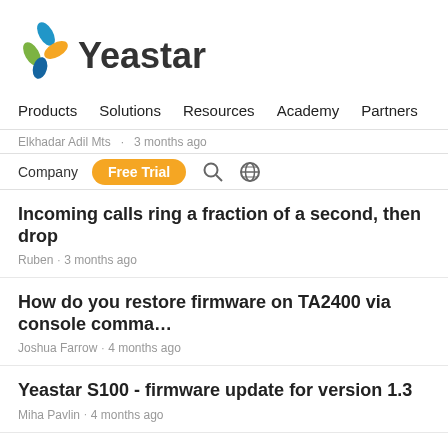[Figure (logo): Yeastar company logo with colorful leaf/petal icon and 'Yeastar' text]
Products   Solutions   Resources   Academy   Partners
Elkhadar Adil Mts  ·  3 months ago
Company   Free Trial
Incoming calls ring a fraction of a second, then drop
Ruben  ·  3 months ago
How do you restore firmware on TA2400 via console comma…
Joshua Farrow  ·  4 months ago
Yeastar S100 - firmware update for version 1.3
Miha Pavlin  ·  4 months ago